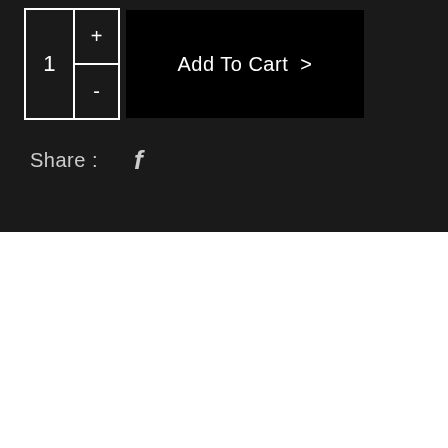[Figure (screenshot): Add to cart UI with quantity selector showing '1' with '+' and '-' buttons, and a black 'Add To Cart >' button]
Share :  f
Description  |  Additional Information  |
Reviews (0)
Sneaky Music DS combines the convenience of a network music player with Linn's experience, expertise and commitment to high quality music reproduction. With on-board volume control and a